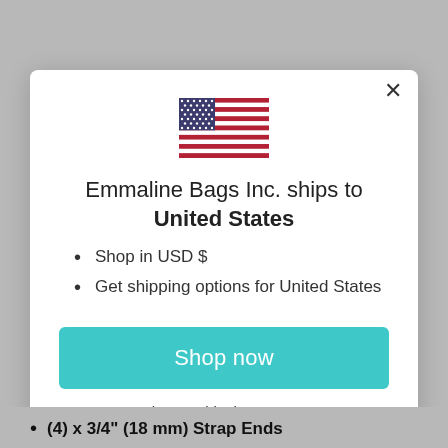[Figure (illustration): US flag emoji/icon displayed at top center of modal dialog]
Emmaline Bags Inc. ships to United States
Shop in USD $
Get shipping options for United States
Shop now
Change shipping country
(4) x 3/4" (18 mm) Strap Ends